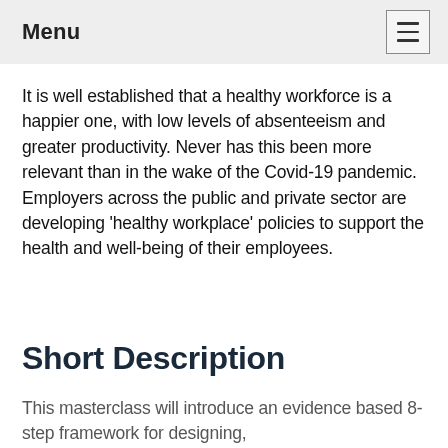Menu
It is well established that a healthy workforce is a happier one, with low levels of absenteeism and greater productivity. Never has this been more relevant than in the wake of the Covid-19 pandemic. Employers across the public and private sector are developing ‘healthy workplace’ policies to support the health and well-being of their employees.
Short Description
This masterclass will introduce an evidence based 8-step framework for designing,